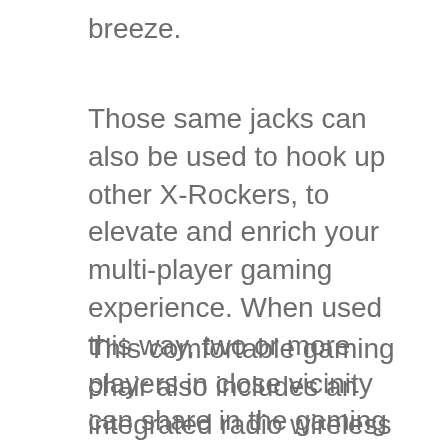breeze.
Those same jacks can also be used to hook up other X-Rockers, to elevate and enrich your multi-player gaming experience. When used this way, two or more players in close vicinity can share in the gaming experience together, expanding the potential for use.
This comfortable gaming chair also includes an integrated radio wireless receiver and comes shipped with a wireless